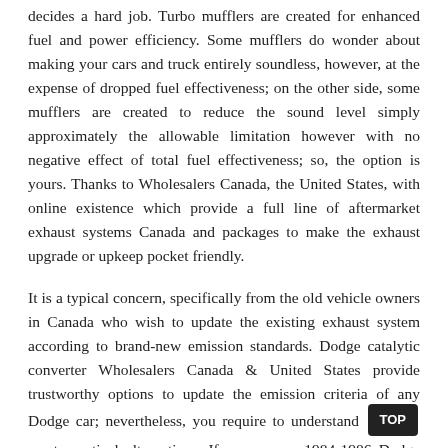decides a hard job. Turbo mufflers are created for enhanced fuel and power efficiency. Some mufflers do wonder about making your cars and truck entirely soundless, however, at the expense of dropped fuel effectiveness; on the other side, some mufflers are created to reduce the sound level simply approximately the allowable limitation however with no negative effect of total fuel effectiveness; so, the option is yours. Thanks to Wholesalers Canada, the United States, with online existence which provide a full line of aftermarket exhaust systems Canada and packages to make the exhaust upgrade or upkeep pocket friendly.
It is a typical concern, specifically from the old vehicle owners in Canada who wish to update the existing exhaust system according to brand-new emission standards. Dodge catalytic converter Wholesalers Canada & United States provide trustworthy options to update the emission criteria of any Dodge car; nevertheless, you require to understand [TOP] most practical alternatives. If you own a 1984-1986 Dodge Mini Ram Van, 1987-1990 Dodge, 1987-1988 Dodge Mini Ram Van or